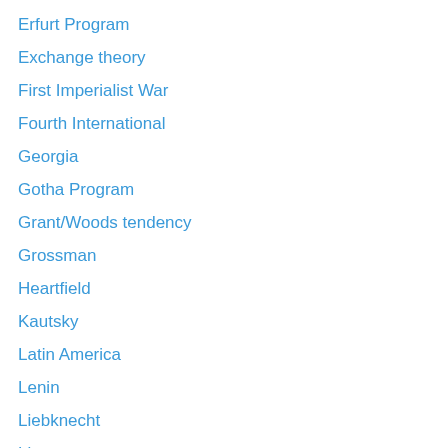Erfurt Program
Exchange theory
First Imperialist War
Fourth International
Georgia
Gotha Program
Grant/Woods tendency
Grossman
Heartfield
Kautsky
Latin America
Lenin
Liebknecht
Linera
Lluxemburg
Luxemburg
Marx
Mattick
Mensheviks
Morales